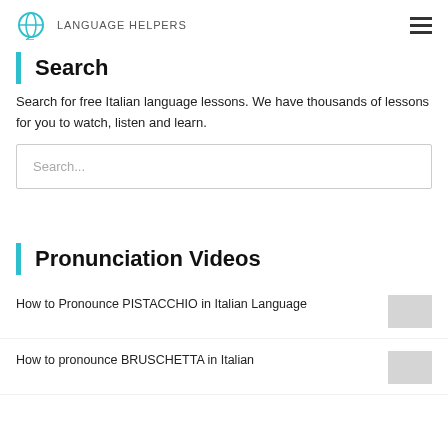Language Helpers
Search
Search for free Italian language lessons. We have thousands of lessons for you to watch, listen and learn.
Search...
Pronunciation Videos
How to Pronounce PISTACCHIO in Italian Language
How to pronounce BRUSCHETTA in Italian